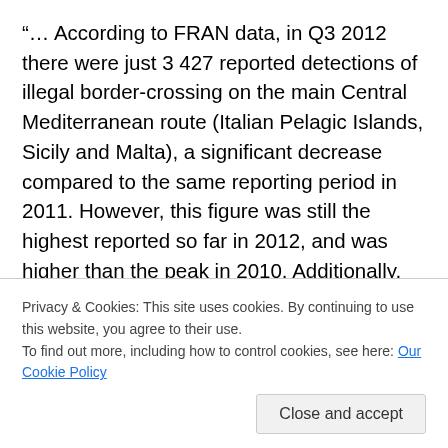“… According to FRAN data, in Q3 2012 there were just 3 427 reported detections of illegal border-crossing on the main Central Mediterranean route (Italian Pelagic Islands, Sicily and Malta), a significant decrease compared to the same reporting period in 2011. However, this figure was still the highest reported so far in 2012, and was higher than the peak in 2010. Additionally, there were some significant increases in various nationalities.
On the Central Mediterranean route, detections of migrants from Tunisia continued to in crease from 82
detected in significant and increasing numbers (287). The
Privacy & Cookies: This site uses cookies. By continuing to use this website, you agree to their use.
To find out more, including how to control cookies, see here: Our Cookie Policy